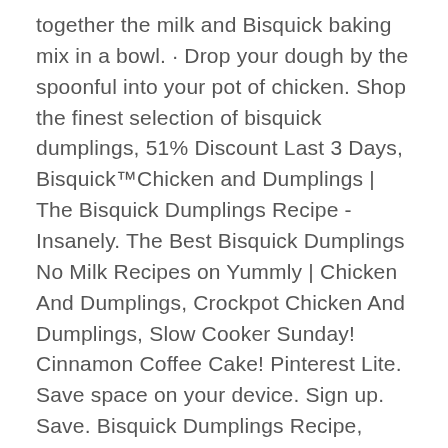together the milk and Bisquick baking mix in a bowl. · Drop your dough by the spoonful into your pot of chicken. Shop the finest selection of bisquick dumplings, 51% Discount Last 3 Days, Bisquick™Chicken and Dumplings | The Bisquick Dumplings Recipe - Insanely. The Best Bisquick Dumplings No Milk Recipes on Yummly | Chicken And Dumplings, Crockpot Chicken And Dumplings, Slow Cooker Sunday! Cinnamon Coffee Cake! Pinterest Lite. Save space on your device. Sign up. Save. Bisquick Dumplings Recipe, Bisquick Recipes, Dumpling Recipe, Biscuit Recipe, Crockpot Recipes. Bisquick Dumplings Recipe · Original Bisquick mix – 2 cups; Milk – 2/3 cup · Stir the ingredients together until a soft dough forms. · When you are dropping the. I really love the simplicity of this recipe. This was my first time making dumplings for a chicken soup. I used self-rising flour in light of some reviews suggesting increasing